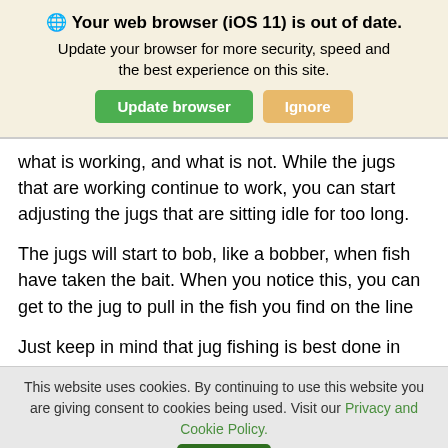🌐 Your web browser (iOS 11) is out of date. Update your browser for more security, speed and the best experience on this site.
what is working, and what is not. While the jugs that are working continue to work, you can start adjusting the jugs that are sitting idle for too long.
The jugs will start to bob, like a bobber, when fish have taken the bait. When you notice this, you can get to the jug to pull in the fish you find on the line
Just keep in mind that jug fishing is best done in
This website uses cookies. By continuing to use this website you are giving consent to cookies being used. Visit our Privacy and Cookie Policy.